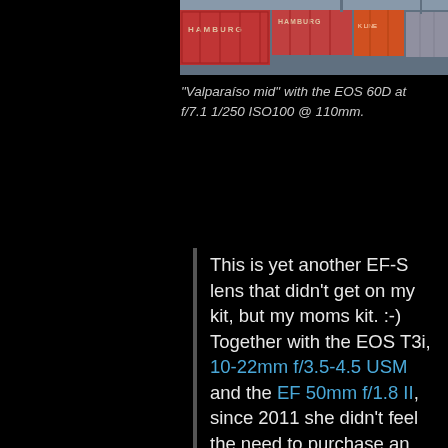[Figure (photo): Cropped photo of shipping containers with Hamburg and K Line branding]
“Valparaíso mid” with the EOS 60D at f/7.1 1/250 ISO100 @ 110mm.
This is yet another EF-S lens that didn’t get on my kit, but my moms kit. :-) Together with the EOS T3i, 10-22mm f/3.5-4.5 USM and the EF 50mm f/1.8 II, since 2011 she didn’t feel the need to purchase an extra lens to shoot vacations and some work. The EF-S 18-200mm f/3.5-5.6 IS is bolted to her camera but I took it for a spin at Valparaíso (Chile), for